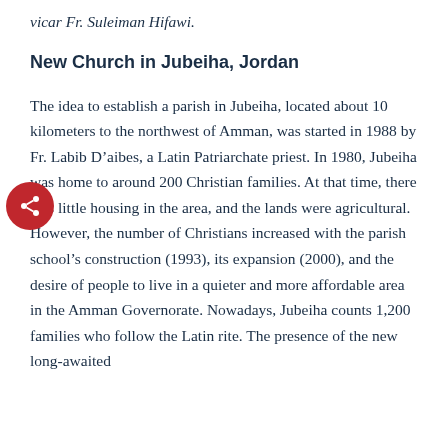vicar Fr. Suleiman Hifawi.
New Church in Jubeiha, Jordan
The idea to establish a parish in Jubeiha, located about 10 kilometers to the northwest of Amman, was started in 1988 by Fr. Labib D’aibes, a Latin Patriarchate priest. In 1980, Jubeiha was home to around 200 Christian families. At that time, there was little housing in the area, and the lands were agricultural. However, the number of Christians increased with the parish school’s construction (1993), its expansion (2000), and the desire of people to live in a quieter and more affordable area in the Amman Governorate. Nowadays, Jubeiha counts 1,200 families who follow the Latin rite. The presence of the new long-awaited